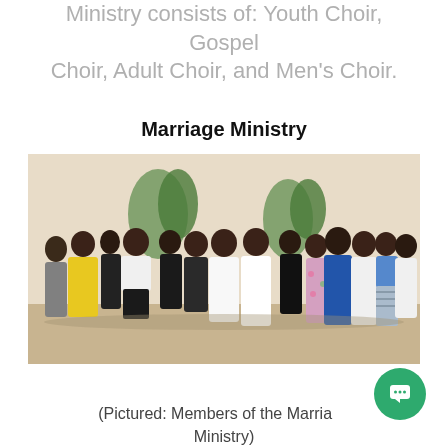Ministry consists of: Youth Choir, Gospel Choir, Adult Choir, and Men's Choir.
Marriage Ministry
[Figure (photo): Group photo of Members of the Marriage Ministry. A large group of men and women dressed formally, standing together indoors in front of decorative plants. Some wear white, others wear black, blue, and other colors.]
(Pictured: Members of the Marriage Ministry)